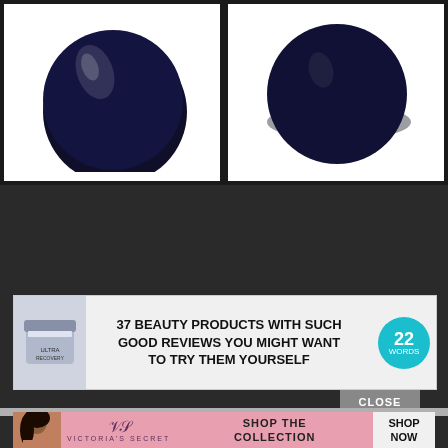[Figure (photo): Two side-by-side product swatches showing dark navy blue circular nail polish color dots on white backgrounds]
[Figure (screenshot): Advertisement banner: '37 BEAUTY PRODUCTS WITH SUCH GOOD REVIEWS YOU MIGHT WANT TO TRY THEM YOURSELF' with product image and teal badge showing '22']
[Figure (screenshot): Victoria's Secret advertisement banner: 'SHOP THE COLLECTION' with SHOP NOW button, pink background with model]